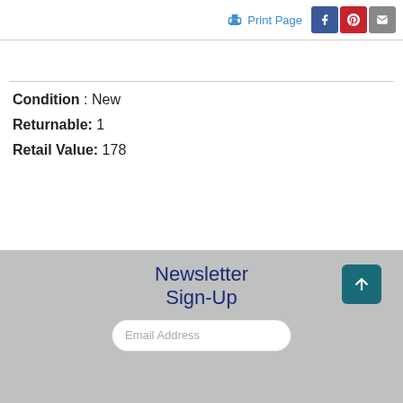Print Page
Condition : New
Returnable: 1
Retail Value: 178
Newsletter Sign-Up
Email Address